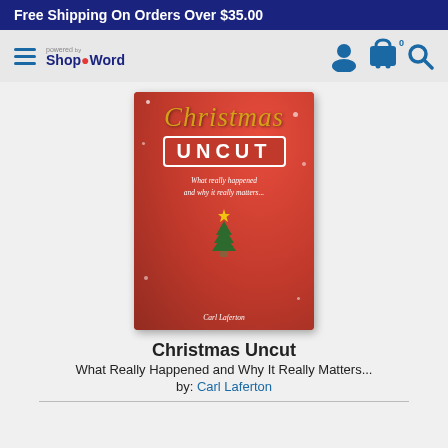Free Shipping On Orders Over $35.00
[Figure (screenshot): Shop The Word powered navigation bar with hamburger menu icon on the left and user account, cart with 0 items, and search icons on the right]
[Figure (photo): Book cover of 'Christmas Uncut' by Carl Laferton. Red background with sparkles, script gold title 'Christmas', bold white 'UNCUT' in red bordered box, subtitle 'What really happened and why it really matters...' with a small Christmas tree illustration, author name Carl Laferton at bottom.]
Christmas Uncut
What Really Happened and Why It Really Matters...
by: Carl Laferton